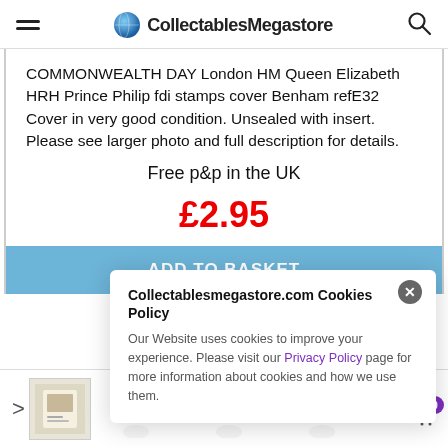CollectablesMegastore
COMMONWEALTH DAY London HM Queen Elizabeth HRH Prince Philip fdi stamps cover Benham refE32 Cover in very good condition. Unsealed with insert. Please see larger photo and full description for details.
Free p&p in the UK
£2.95
ADD TO BASKET
[Figure (screenshot): Cookie consent popup overlay with title 'Collectablesmegastore.com Cookies Policy' and body text about website cookies and privacy policy link.]
Collectablesmegastore.com Cookies Policy
Our Website uses cookies to improve your experience. Please visit our Privacy Policy page for more information about cookies and how we use them.